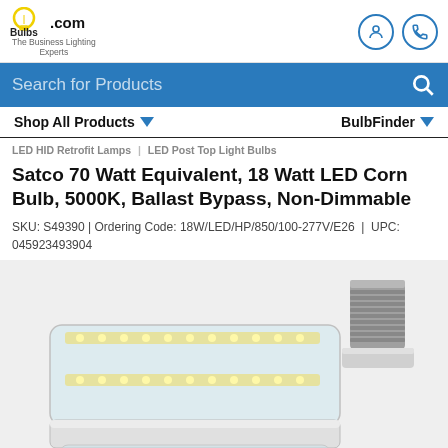Bulbs.com – The Business Lighting Experts
Search for Products
Shop All Products ▼   BulbFinder ▼
LED HID Retrofit Lamps | LED Post Top Light Bulbs
Satco 70 Watt Equivalent, 18 Watt LED Corn Bulb, 5000K, Ballast Bypass, Non-Dimmable
SKU: S49390 | Ordering Code: 18W/LED/HP/850/100-277V/E26 | UPC: 045923493904
[Figure (photo): Close-up photo of a Satco LED corn bulb (cylindrical, clear LED strips, white plastic housing, E26 screw base) shown from a slightly elevated angle. The bulb has multiple LED strips running along its length.]